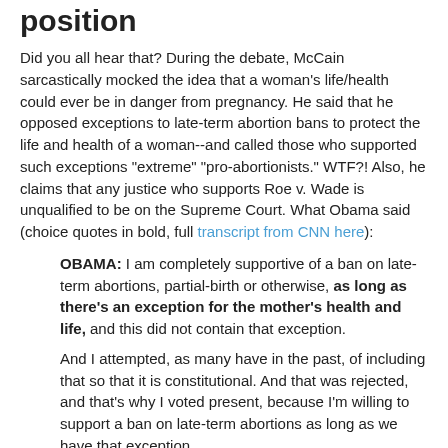position
Did you all hear that? During the debate, McCain sarcastically mocked the idea that a woman's life/health could ever be in danger from pregnancy. He said that he opposed exceptions to late-term abortion bans to protect the life and health of a woman--and called those who supported such exceptions "extreme" "pro-abortionists." WTF?! Also, he claims that any justice who supports Roe v. Wade is unqualified to be on the Supreme Court. What Obama said (choice quotes in bold, full transcript from CNN here):
OBAMA: I am completely supportive of a ban on late-term abortions, partial-birth or otherwise, as long as there's an exception for the mother's health and life, and this did not contain that exception.
And I attempted, as many have in the past, of including that so that it is constitutional. And that was rejected, and that's why I voted present, because I'm willing to support a ban on late-term abortions as long as we have that exception.